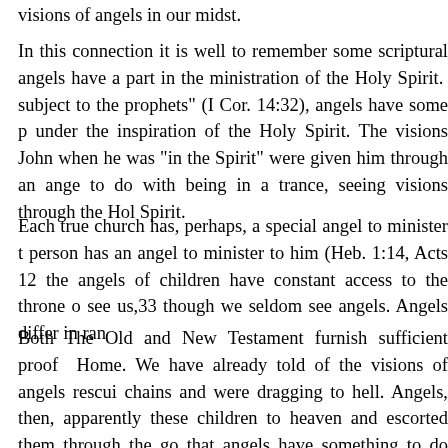visions of angels in our midst.
In this connection it is well to remember some scriptural angels have a part in the ministration of the Holy Spirit. subject to the prophets" (I Cor. 14:32), angels have some p under the inspiration of the Holy Spirit. The visions John when he was "in the Spirit" were given him through an ange to do with being in a trance, seeing visions through the Hol Spirit.
Each true church has, perhaps, a special angel to minister t person has an angel to minister to him (Heb. 1:14, Acts 12 the angels of children have constant access to the throne o see us,33 though we seldom see angels. Angels differ in ran
Both The Old and New Testament furnish sufficient proof Home. We have already told of the visions of angels rescui chains and were dragging to hell. Angels, then, apparently these children to heaven and escorted them through the go that angels have something to do with the visions given Adu languages did so when they were dancing and singing with to do with speaking in other languages, for it is possible to s